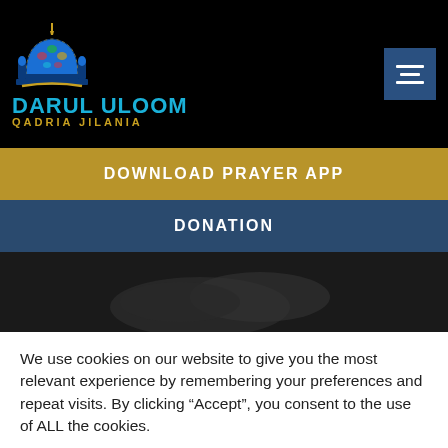DARUL ULOOM QADRIA JILANIA
DOWNLOAD PRAYER APP
DONATION
[Figure (screenshot): Dark hero image area with blurred hands praying background]
We use cookies on our website to give you the most relevant experience by remembering your preferences and repeat visits. By clicking “Accept”, you consent to the use of ALL the cookies.
Cookie settings
ACCEPT